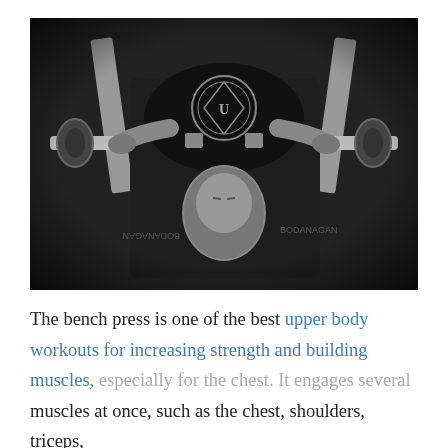[Figure (photo): Black and white photo of a person lying on a bench press rack, viewed from above. The person is wearing a black t-shirt with a circular logo and is gripping a barbell loaded with weights. The image is flipped/inverted orientation showing the athlete upside-down.]
The bench press is one of the best upper body workouts for increasing strength and building muscles, especially for the chest. It engages several muscles at once, such as the chest, shoulders, triceps,